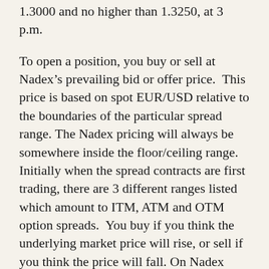1.3000 and no higher than 1.3250, at 3 p.m.
To open a position, you buy or sell at Nadex’s prevailing bid or offer price. This price is based on spot EUR/USD relative to the boundaries of the particular spread range. The Nadex pricing will always be somewhere inside the floor/ceiling range. Initially when the spread contracts are first trading, there are 3 different ranges listed which amount to ITM, ATM and OTM option spreads. You buy if you think the underlying market price will rise, or sell if you think the price will fall. On Nadex you’re trading a derivative so the Nadex spread price is really your breakeven price where you need the underlying market to be above or below.
During the life of the contract, the underlying market